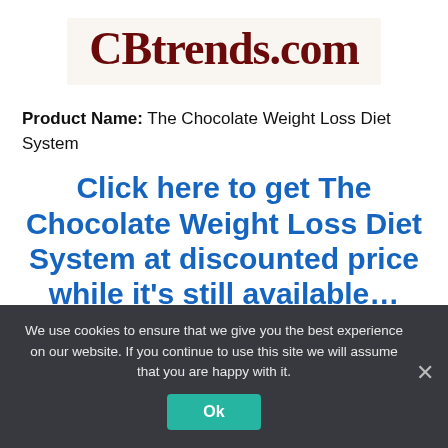[Figure (logo): CBtrends.com logo in dark red serif bold text on a light cream background]
Product Name: The Chocolate Weight Loss Diet System
Click here to get The Chocolate Weight Loss Diet System at discounted price while it's still available...
We use cookies to ensure that we give you the best experience on our website. If you continue to use this site we will assume that you are happy with it.